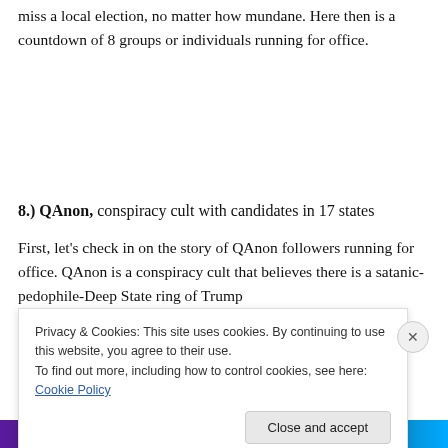miss a local election, no matter how mundane. Here then is a countdown of 8 groups or individuals running for office.
8.) QAnon, conspiracy cult with candidates in 17 states
First, let's check in on the story of QAnon followers running for office. QAnon is a conspiracy cult that believes there is a satanic-pedophile-Deep State ring of Trump
Privacy & Cookies: This site uses cookies. By continuing to use this website, you agree to their use.
To find out more, including how to control cookies, see here: Cookie Policy
Close and accept